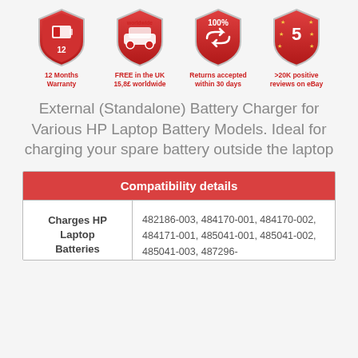[Figure (infographic): Four red shield/badge icons representing: 12 Months Warranty, FREE in the UK 15.8£ worldwide, Returns accepted within 30 days, >20K positive reviews on eBay]
External (Standalone) Battery Charger for Various HP Laptop Battery Models. Ideal for charging your spare battery outside the laptop
| Compatibility details |
| --- |
| Charges HP Laptop Batteries | 482186-003, 484170-001, 484170-002, 484171-001, 485041-001, 485041-002, 485041-003, 487296- |